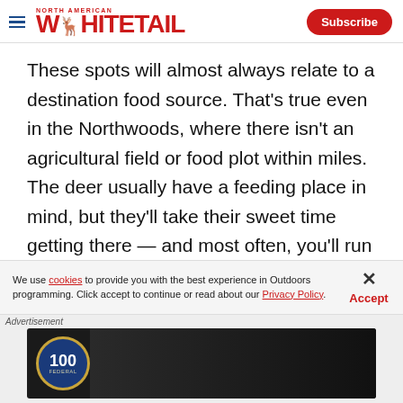North American Whitetail — Subscribe
These spots will almost always relate to a destination food source. That's true even in the Northwoods, where there isn't an agricultural field or food plot within miles. The deer usually have a feeding place in mind, but they'll take their sweet time getting there — and most often, you'll run out the clock before they poke their nose into any open areas
We use cookies to provide you with the best experience in Outdoors programming. Click accept to continue or read about our Privacy Policy.
[Figure (screenshot): Advertisement banner featuring Federal ammunition 100th anniversary badge and dark industrial machinery background]